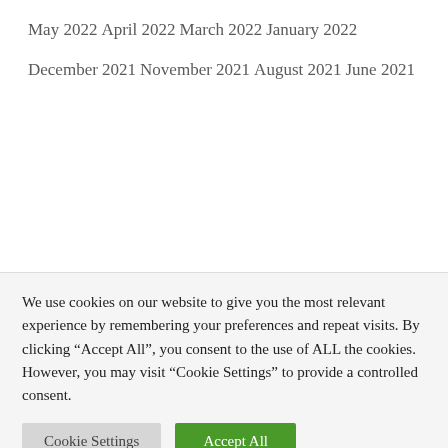May 2022
April 2022
March 2022
January 2022
December 2021
November 2021
August 2021
June 2021
We use cookies on our website to give you the most relevant experience by remembering your preferences and repeat visits. By clicking “Accept All”, you consent to the use of ALL the cookies. However, you may visit “Cookie Settings” to provide a controlled consent.